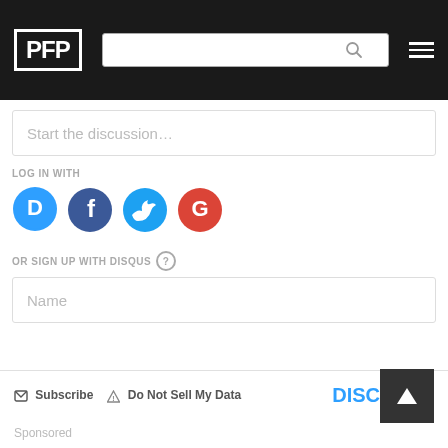PFP
Start the discussion…
LOG IN WITH
[Figure (other): Social login icons: Disqus (blue), Facebook (dark blue), Twitter (light blue), Google (red)]
OR SIGN UP WITH DISQUS ?
Name
Be the first to comment.
Subscribe   Do Not Sell My Data   DISQUS
Sponsored